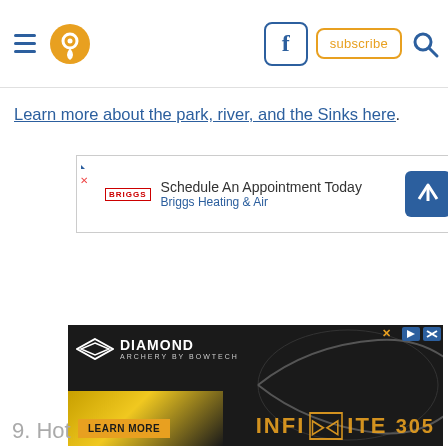Navigation header with hamburger menu, location icon, Facebook icon, subscribe button, and search icon
Learn more about the park, river, and the Sinks here.
[Figure (screenshot): Advertisement banner for Briggs Heating & Air: 'Schedule An Appointment Today' with Briggs logo and blue navigation arrow icon]
[Figure (screenshot): Advertisement banner for Diamond Archery Infinite 305 compound bow with 'Learn More' button on black and yellow background]
9. Hot